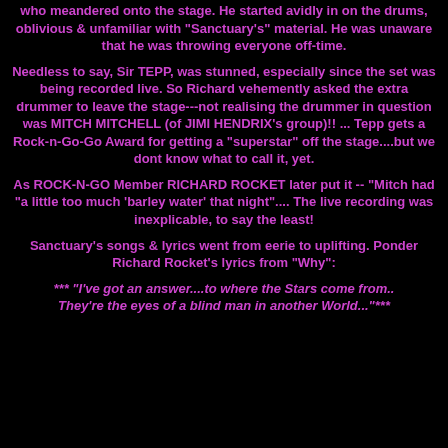who meandered onto the stage. He started avidly in on the drums, oblivious & unfamiliar with "Sanctuary's" material. He was unaware that he was throwing everyone off-time.
Needless to say, Sir TEPP, was stunned, especially since the set was being recorded live. So Richard vehemently asked the extra drummer to leave the stage---not realising the drummer in question was MITCH MITCHELL (of JIMI HENDRIX's group)!! ... Tepp gets a Rock-n-Go-Go Award for getting a "superstar" off the stage....but we dont know what to call it, yet.
As ROCK-N-GO Member RICHARD ROCKET later put it -- "Mitch had "a little too much 'barley water' that night".... The live recording was inexplicable, to say the least!
Sanctuary's songs & lyrics went from eerie to uplifting. Ponder Richard Rocket's lyrics from "Why":
*** "I've got an answer....to where the Stars come from.. They're the eyes of a blind man in another World..."***